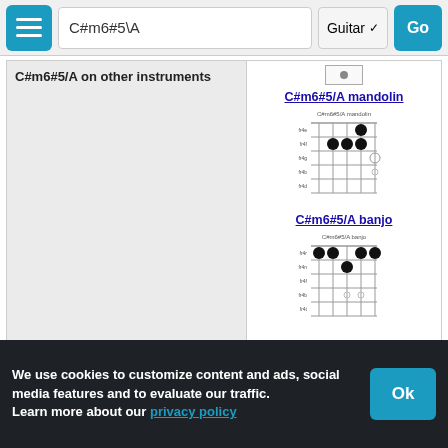C#m6#5\A | Guitar | Go
C#m6#5/A on other instruments
[Figure (illustration): C#m6#5/A mandolin chord diagram showing fret positions with filled dots]
C#m6#5/A mandolin
[Figure (illustration): C#m6#5/A banjo chord diagram showing fret positions with filled dots]
C#m6#5/A banjo
Tweak notes of C#m6#5/A
A  E  A#  C#  E
We use cookies to customize content and ads, social media features and to evaluate our traffic.
Learn more about our privacy policy